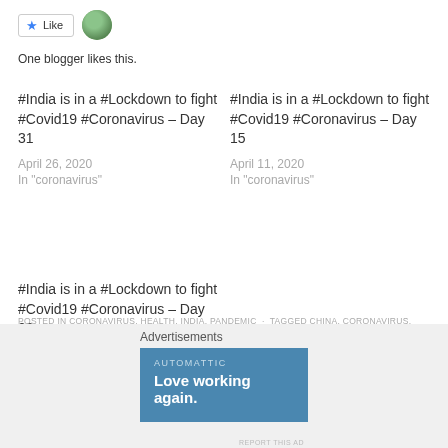[Figure (other): Like button with blue star and avatar photo of blogger]
One blogger likes this.
#India is in a #Lockdown to fight #Covid19 #Coronavirus – Day 31
April 26, 2020
In "coronavirus"
#India is in a #Lockdown to fight #Covid19 #Coronavirus – Day 15
April 11, 2020
In "coronavirus"
#India is in a #Lockdown to fight #Covid19 #Coronavirus – Day 28
April 25, 2020
In "coronavirus"
POSTED IN CORONAVIRUS, HEALTH, INDIA, PANDEMIC · TAGGED CHINA, CORONAVIRUS, COVID19, INDIA, JANATA CURFEW, LOCKDOWN
Advertisements
[Figure (other): Automattic advertisement banner — Love working again.]